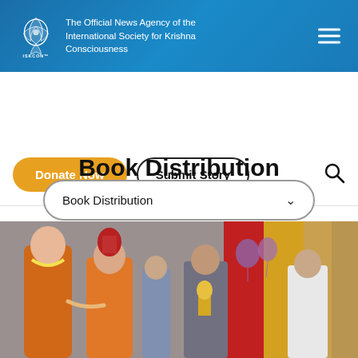The Official News Agency of the International Society for Krishna Consciousness — ISKCON NEWS
Donate Now
Submit Story
Book Distribution
Book Distribution
[Figure (photo): Group of people at an event, including two monks in orange robes and garlands, and several others, with colorful decorations including balloons and draped fabric in the background]